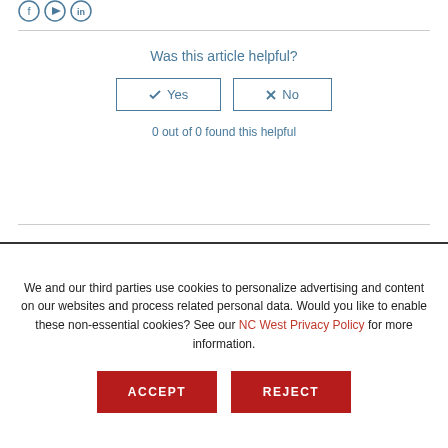[Figure (other): Social media icons: Facebook, Twitter/play, LinkedIn in circular outline style]
Was this article helpful?
✓ Yes   ✗ No (buttons)
0 out of 0 found this helpful
We and our third parties use cookies to personalize advertising and content on our websites and process related personal data. Would you like to enable these non-essential cookies? See our NC West Privacy Policy for more information.
ACCEPT   REJECT (buttons)